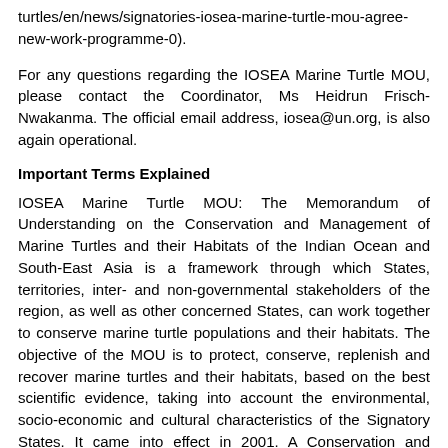turtles/en/news/signatories-iosea-marine-turtle-mou-agree-new-work-programme-0).
For any questions regarding the IOSEA Marine Turtle MOU, please contact the Coordinator, Ms Heidrun Frisch-Nwakanma. The official email address, iosea@un.org, is also again operational.
Important Terms Explained
IOSEA Marine Turtle MOU: The Memorandum of Understanding on the Conservation and Management of Marine Turtles and their Habitats of the Indian Ocean and South-East Asia is a framework through which States, territories, inter- and non-governmental stakeholders of the region, as well as other concerned States, can work together to conserve marine turtle populations and their habitats. The objective of the MOU is to protect, conserve, replenish and recover marine turtles and their habitats, based on the best scientific evidence, taking into account the environmental, socio-economic and cultural characteristics of the Signatory States. It came into effect in 2001. A Conservation and Management Plan is part of the MOU. (more information at www.cms.int/iosea-